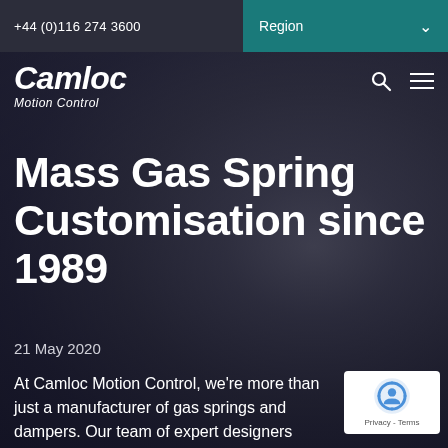+44 (0)116 274 3600
Region
[Figure (logo): Camloc Motion Control logo in white italic text on dark background]
Mass Gas Spring Customisation since 1989
21 May 2020
At Camloc Motion Control, we're more than just a manufacturer of gas springs and dampers. Our team of expert designers
[Figure (other): reCAPTCHA Privacy - Terms badge in bottom right corner]